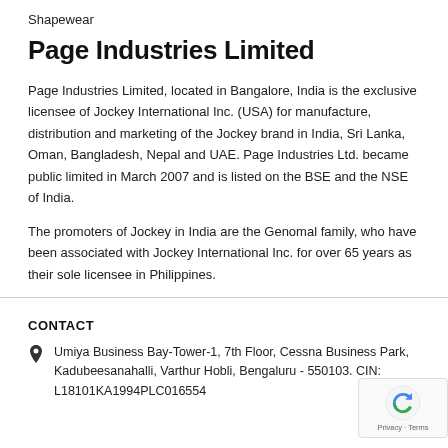Shapewear
Page Industries Limited
Page Industries Limited, located in Bangalore, India is the exclusive licensee of Jockey International Inc. (USA) for manufacture, distribution and marketing of the Jockey brand in India, Sri Lanka, Oman, Bangladesh, Nepal and UAE. Page Industries Ltd. became public limited in March 2007 and is listed on the BSE and the NSE of India.
The promoters of Jockey in India are the Genomal family, who have been associated with Jockey International Inc. for over 65 years as their sole licensee in Philippines.
CONTACT
Umiya Business Bay-Tower-1, 7th Floor, Cessna Business Park, Kadubeesanahalli, Varthur Hobli, Bengaluru - 550103. CIN: L18101KA1994PLC016554